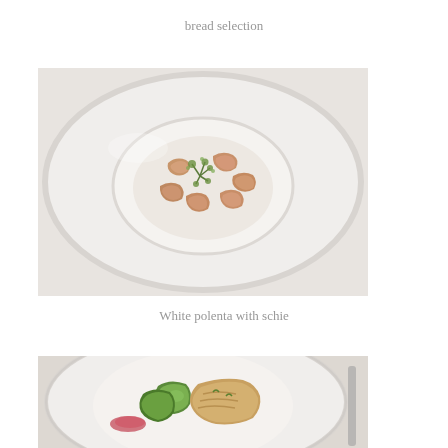bread selection
[Figure (photo): A white ceramic plate with a shallow bowl center containing white polenta topped with schie (small shrimp/seafood) and a sprig of dill herb, photographed from above on a white tablecloth background.]
White polenta with schie
[Figure (photo): A white ceramic plate with food including sliced avocado, toasted bread/crostini, and other garnishes, partially visible, cut off at bottom of page.]